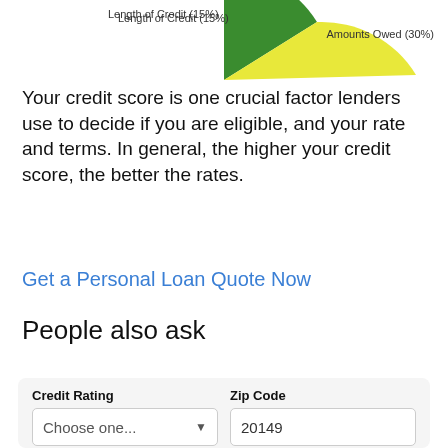[Figure (pie-chart): Partial pie chart visible at top of page showing credit score factors. Visible slices: green slice labeled 'Length of Credit (15%)' and yellow slice labeled 'Amounts Owed (30%)'.]
Your credit score is one crucial factor lenders use to decide if you are eligible, and your rate and terms. In general, the higher your credit score, the better the rates.
Get a Personal Loan Quote Now
People also ask
| Credit Rating | Zip Code |
| --- | --- |
| Choose one... | 20149 |
| Loan Purpose | Amount |